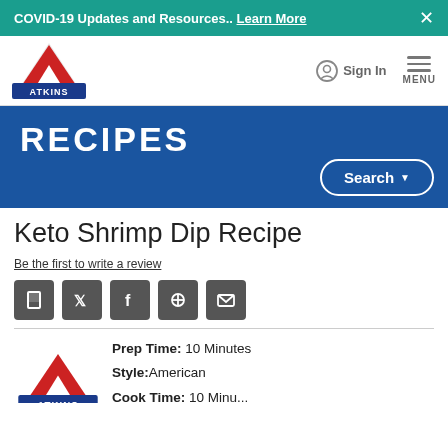COVID-19 Updates and Resources.. Learn More
[Figure (logo): Atkins logo - red triangle A with ATKINS text on blue banner]
Sign In
MENU
RECIPES
Search
Keto Shrimp Dip Recipe
Be the first to write a review
[Figure (infographic): Social sharing icons: save, Twitter, Facebook, Pinterest, email]
[Figure (logo): Atkins logo partial - red triangle A]
Prep Time: 10 Minutes
Style: American
Cook Time: 10 Minutes